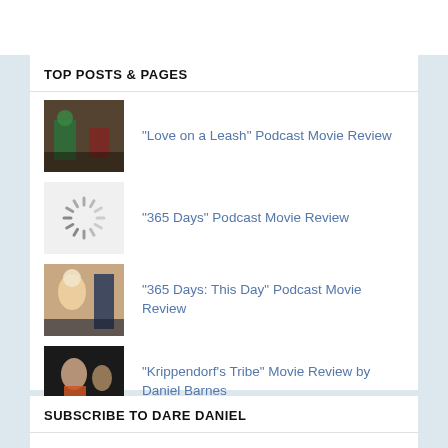TOP POSTS & PAGES
"Love on a Leash" Podcast Movie Review
"365 Days" Podcast Movie Review
"365 Days: This Day" Podcast Movie Review
"Krippendorf's Tribe" Movie Review by Daniel Barnes
"Speed Kills" Podcast Movie Review
SUBSCRIBE TO DARE DANIEL